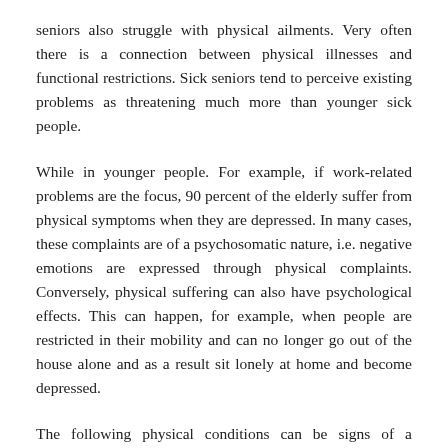seniors also struggle with physical ailments. Very often there is a connection between physical illnesses and functional restrictions. Sick seniors tend to perceive existing problems as threatening much more than younger sick people.
While in younger people. For example, if work-related problems are the focus, 90 percent of the elderly suffer from physical symptoms when they are depressed. In many cases, these complaints are of a psychosomatic nature, i.e. negative emotions are expressed through physical complaints. Conversely, physical suffering can also have psychological effects. This can happen, for example, when people are restricted in their mobility and can no longer go out of the house alone and as a result sit lonely at home and become depressed.
The following physical conditions can be signs of a depression and depression, which is...